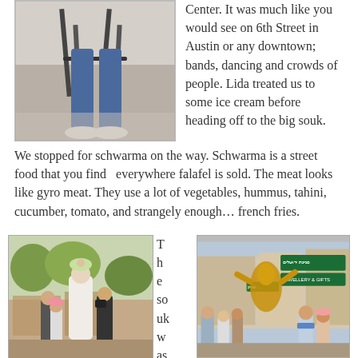[Figure (photo): Person sitting on a stool outdoors in bright sunlight, legs visible, wearing jeans and white shoes]
Center. It was much like you would see on 6th Street in Austin or any downtown; bands, dancing and crowds of people. Lida treated us to some ice cream before heading off to the big souk.
We stopped for schwarma on the way. Schwarma is a street food that you find  everywhere falafel is sold. The meat looks like gyro meat. They use a lot of vegetables, hummus, tahini, cucumber, tomato, and strangely enough… french fries.
[Figure (photo): Crowd scene at a market or festival, people including children and a woman in white with a flower headdress, outdoor setting with trees]
T h e so uk w as e
[Figure (photo): Crowded souk/market street scene with a large golden sculpture or statue visible, signs in Hebrew and English reading JEWELLERY & GIFTS, many people walking]